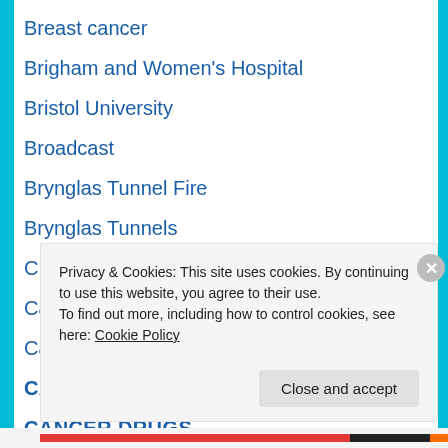Breast cancer
Brigham and Women's Hospital
Bristol University
Broadcast
Brynglas Tunnel Fire
Brynglas Tunnels
C Dif
Canakinumab
Cancer
CANCER COSTS
CANCER DRUGS
Privacy & Cookies: This site uses cookies. By continuing to use this website, you agree to their use.
To find out more, including how to control cookies, see here: Cookie Policy
Close and accept